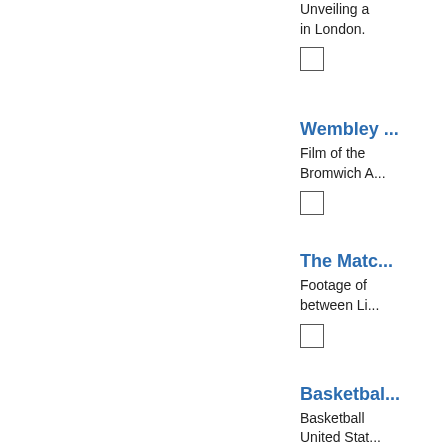Unveiling a... in London.
[checkbox]
Wembley ...
Film of the ... Bromwich A...
[checkbox]
The Matc...
Footage of ... between Li...
[checkbox]
Basketbal...
Basketball ... United Stat...
[checkbox]
The World...